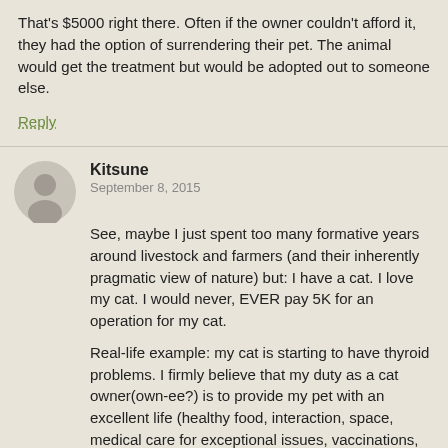That's $5000 right there. Often if the owner couldn't afford it, they had the option of surrendering their pet. The animal would get the treatment but would be adopted out to someone else.
Reply
Kitsune
September 8, 2015
See, maybe I just spent too many formative years around livestock and farmers (and their inherently pragmatic view of nature) but: I have a cat. I love my cat. I would never, EVER pay 5K for an operation for my cat.
Real-life example: my cat is starting to have thyroid problems. I firmly believe that my duty as a cat owner(own-ee?) is to provide my pet with an excellent life (healthy food, interaction, space, medical care for exceptional issues, vaccinations, etc), and, once they reach the point where their health is failing, to let them go without insisting on twice-a-day medication for a cat who is no longer enjoying life.